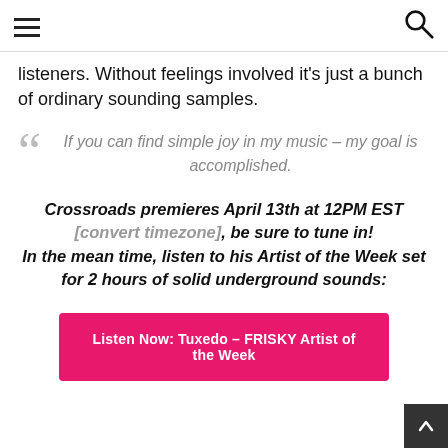[hamburger menu] [search icon]
listeners. Without feelings involved it's just a bunch of ordinary sounding samples.
If you can find simple joy in my music – my goal is accomplished.
Crossroads premieres April 13th at 12PM EST [convert timezone], be sure to tune in! In the mean time, listen to his Artist of the Week set for 2 hours of solid underground sounds:
Listen Now: Tuxedo – FRISKY Artist of the Week